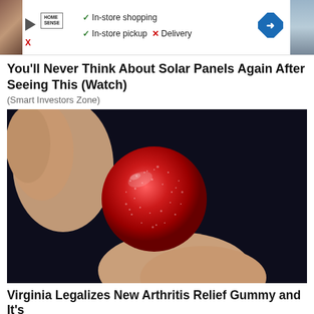[Figure (screenshot): Ad banner with Home Sense logo, play button, checkmarks for In-store shopping, In-store pickup, X for Delivery, and a blue diamond arrow icon]
You'll Never Think About Solar Panels Again After Seeing This (Watch)
(Smart Investors Zone)
[Figure (photo): Close-up photo of a red sugar-coated gummy candy being held between two fingers against a dark background]
Virginia Legalizes New Arthritis Relief Gummy and It's